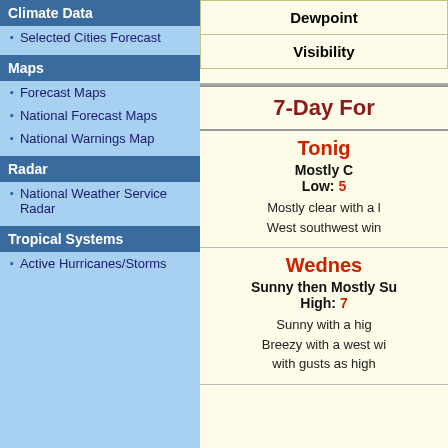Climate Data
Selected Cities Forecast
Maps
Forecast Maps
National Forecast Maps
National Warnings Map
Radar
National Weather Service Radar
Tropical Systems
Active Hurricanes/Storms
| Dewpoint |
| Visibility |
7-Day For...
Tonight
Mostly C...
Low: 5...
Mostly clear with a l... West southwest win...
Wednes...
Sunny then Mostly Su...
High: 7...
Sunny with a hig... Breezy with a west wi... with gusts as high...